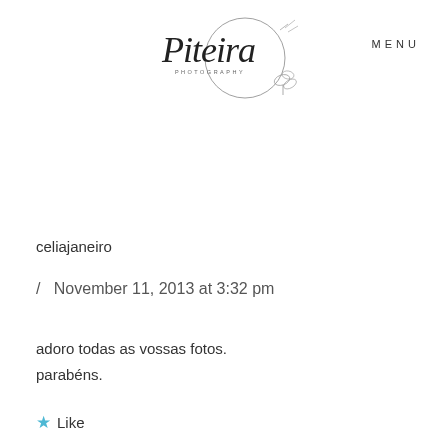[Figure (logo): Piteira Photography logo with script text and botanical circle illustration]
MENU
celiajaneiro
/  November 11, 2013 at 3:32 pm
adoro todas as vossas fotos.
parabéns.
★ Like